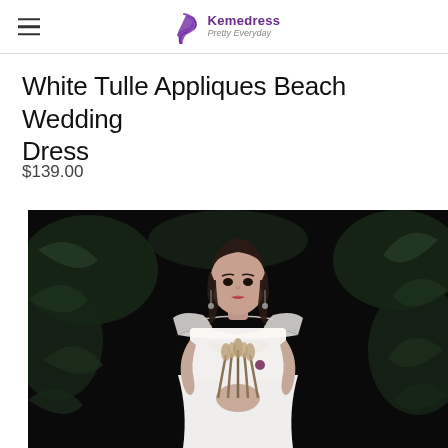Kemedress Pretty Everyday
White Tulle Appliques Beach Wedding Dress
$139.00
[Figure (photo): A young woman wearing a white tulle beach wedding dress with a sheer cape collar and lace bodice, holding a bouquet of dried flowers, posing against a dark background with green foliage.]